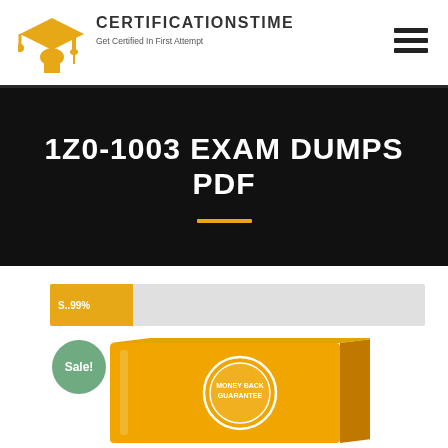CERTIFICATIONSTIME — Get Certified In First Attempt
1Z0-1003 EXAM DUMPS PDF
S..99%
[Figure (illustration): Orange product box with money-back guarantee seal, Sale! badge in green circle overlay]
Sale!